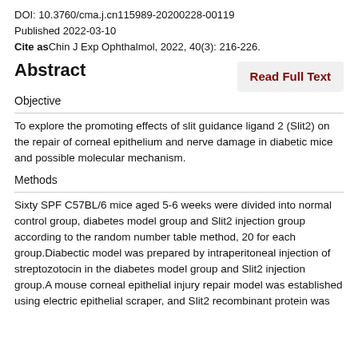DOI: 10.3760/cma.j.cn115989-20200228-00119
Published 2022-03-10
Cite as Chin J Exp Ophthalmol, 2022, 40(3): 216-226.
Abstract
Objective
To explore the promoting effects of slit guidance ligand 2 (Slit2) on the repair of corneal epithelium and nerve damage in diabetic mice and possible molecular mechanism.
Methods
Sixty SPF C57BL/6 mice aged 5-6 weeks were divided into normal control group, diabetes model group and Slit2 injection group according to the random number table method, 20 for each group.Diabectic model was prepared by intraperitoneal injection of streptozotocin in the diabetes model group and Slit2 injection group.A mouse corneal epithelial injury repair model was established using electric epithelial scraper, and Slit2 recombinant protein was